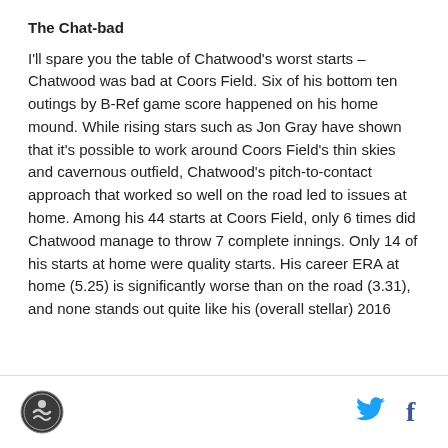The Chat-bad
I'll spare you the table of Chatwood's worst starts – Chatwood was bad at Coors Field. Six of his bottom ten outings by B-Ref game score happened on his home mound. While rising stars such as Jon Gray have shown that it's possible to work around Coors Field's thin skies and cavernous outfield, Chatwood's pitch-to-contact approach that worked so well on the road led to issues at home. Among his 44 starts at Coors Field, only 6 times did Chatwood manage to throw 7 complete innings. Only 14 of his starts at home were quality starts. His career ERA at home (5.25) is significantly worse than on the road (3.31), and none stands out quite like his (overall stellar) 2016
[Figure (logo): Site logo - circular icon with swimming figure]
[Figure (logo): Twitter bird icon in blue]
[Figure (logo): Facebook f icon in blue]